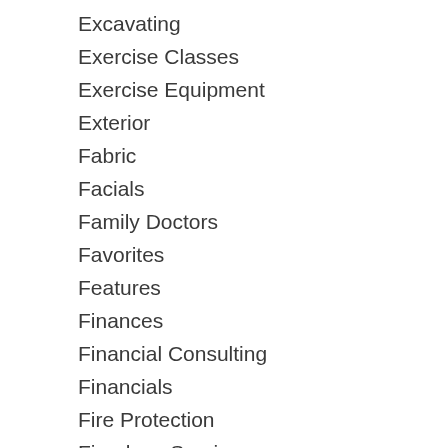Excavating
Exercise Classes
Exercise Equipment
Exterior
Fabric
Facials
Family Doctors
Favorites
Features
Finances
Financial Consulting
Financials
Fire Protection
Fireplace Services
Firewood Services